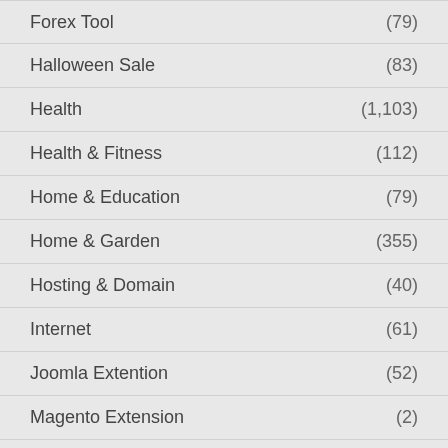Forex Tool (79)
Halloween Sale (83)
Health (1,103)
Health & Fitness (112)
Home & Education (79)
Home & Garden (355)
Hosting & Domain (40)
Internet (61)
Joomla Extention (52)
Magento Extension (2)